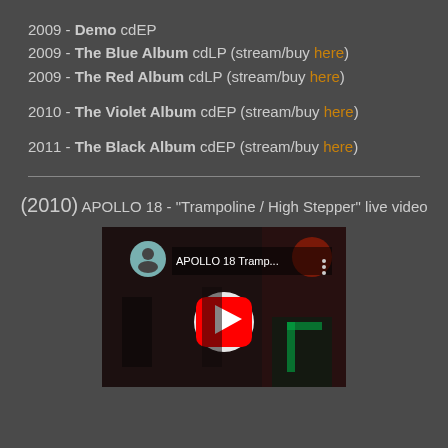2009 - Demo cdEP
2009 - The Blue Album cdLP (stream/buy here)
2009 - The Red Album cdLP (stream/buy here)
2010 - The Violet Album cdEP (stream/buy here)
2011 - The Black Album cdEP (stream/buy here)
(2010) APOLLO 18 - "Trampoline / High Stepper" live video
[Figure (screenshot): YouTube video thumbnail for APOLLO 18 Tramp... live performance video, showing a dark bar/club scene with a red play button overlay]